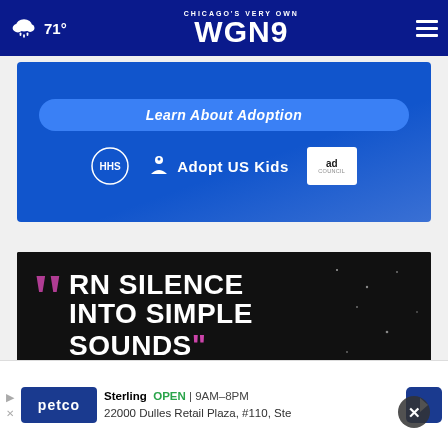71° — CHICAGO'S VERY OWN WGN 9
[Figure (screenshot): Adopt US Kids advertisement banner with 'Learn About Adoption' button and logos for HHS, Adopt US Kids, and Ad Council on blue background]
[Figure (screenshot): Advertisement with text 'TURN SILENCE INTO SIMPLE SOUNDS' in bold white and pink quotation marks on dark/starry background]
[Figure (screenshot): Petco Sterling store ad: 'OPEN 9AM-8PM, 22000 Dulles Retail Plaza, #110, Ste']